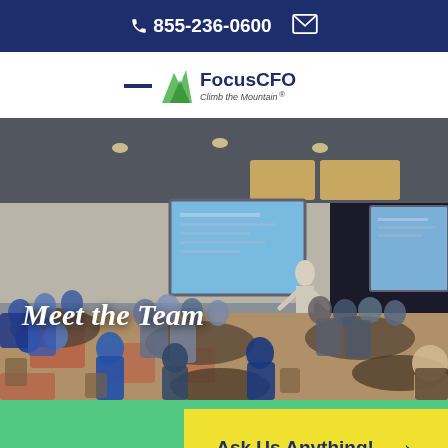855-236-0600 [phone] [email icon]
[Figure (logo): FocusCFO logo with tagline 'Climb the Mountain']
[Figure (photo): Conference room with many business professionals seated at round tables, presenter at front with projector screens showing slides. Text overlay reads 'Meet the Team'.]
Meet the Team
Ask Us Anything!